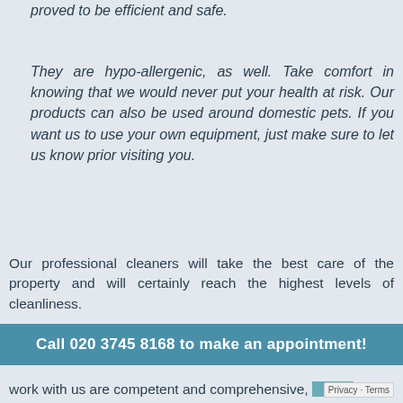proved to be efficient and safe.
They are hypo-allergenic, as well. Take comfort in knowing that we would never put your health at risk. Our products can also be used around domestic pets. If you want us to use your own equipment, just make sure to let us know prior visiting you.
Our professional cleaners will take the best care of the property and will certainly reach the highest levels of cleanliness.
We have been around for several years already and we can
Call 020 3745 8168 to make an appointment!
work with us are competent and comprehensive, able to